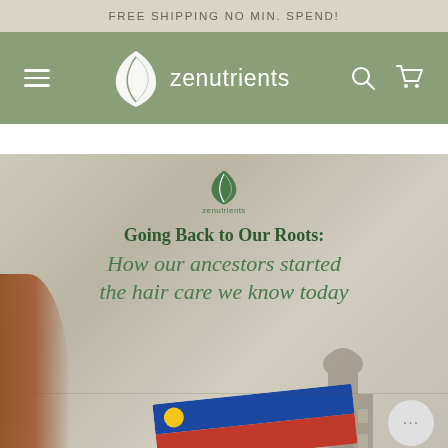FREE SHIPPING NO MIN. SPEND!
[Figure (logo): Zenutrients brand navigation bar with hamburger menu, leaf logo and brand name, search icon, and cart icon on sage green background]
[Figure (photo): Hero image with beige/grey textured background showing Philippine flag, a historic building, and hair. Overlaid with Zenutrients logo and text: 'Going Back to Our Roots: How our ancestors started the hair care we know today']